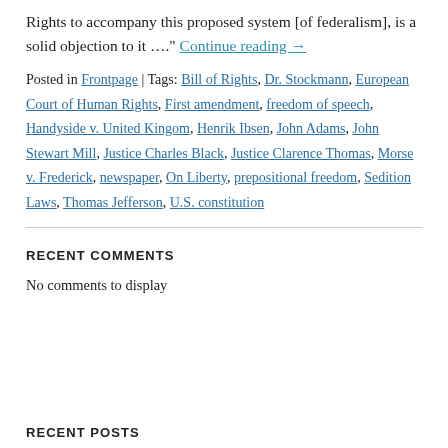Rights to accompany this proposed system [of federalism], is a solid objection to it …." Continue reading →
Posted in Frontpage | Tags: Bill of Rights, Dr. Stockmann, European Court of Human Rights, First amendment, freedom of speech, Handyside v. United Kingom, Henrik Ibsen, John Adams, John Stewart Mill, Justice Charles Black, Justice Clarence Thomas, Morse v. Frederick, newspaper, On Liberty, prepositional freedom, Sedition Laws, Thomas Jefferson, U.S. constitution
RECENT COMMENTS
No comments to display
RECENT POSTS